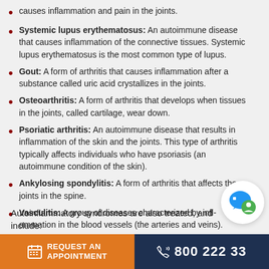causes inflammation and pain in the joints.
Systemic lupus erythematosus: An autoimmune disease that causes inflammation of the connective tissues. Systemic lupus erythematosus is the most common type of lupus.
Gout: A form of arthritis that causes inflammation after a substance called uric acid crystallizes in the joints.
Osteoarthritis: A form of arthritis that develops when tissues in the joints, called cartilage, wear down.
Psoriatic arthritis: An autoimmune disease that results in inflammation of the skin and the joints. This type of arthritis typically affects individuals who have psoriasis (an autoimmune condition of the skin).
Ankylosing spondylitis: A form of arthritis that affects the joints in the spine.
Vasculitis: A group of diseases characterized by inflammation in the blood vessels (the arteries and veins).
Autoinflammatory syndromes are also treated, and include:
REQUEST AN APPOINTMENT   800 222 33